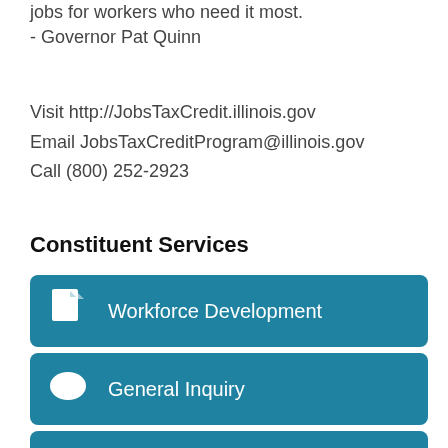jobs for workers who need it most.
- Governor Pat Quinn
Visit http://JobsTaxCredit.illinois.gov
Email JobsTaxCreditProgram@illinois.gov
Call (800) 252-2923
Constituent Services
Workforce Development
General Inquiry
Meeting Request
(partial fourth item)